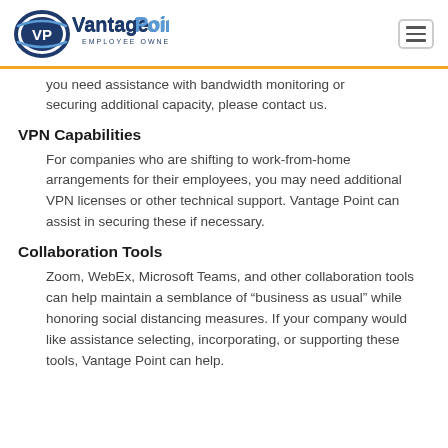VantagePoint EMPLOYEE OWNED
you need assistance with bandwidth monitoring or securing additional capacity, please contact us.
VPN Capabilities
For companies who are shifting to work-from-home arrangements for their employees, you may need additional VPN licenses or other technical support. Vantage Point can assist in securing these if necessary.
Collaboration Tools
Zoom, WebEx, Microsoft Teams, and other collaboration tools can help maintain a semblance of “business as usual” while honoring social distancing measures. If your company would like assistance selecting, incorporating, or supporting these tools, Vantage Point can help.